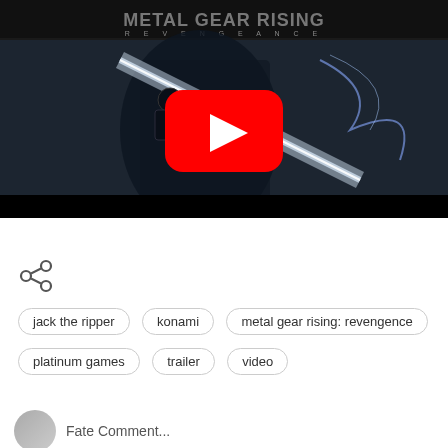[Figure (screenshot): Metal Gear Rising: Revengeance game trailer thumbnail with YouTube play button overlay. Shows armored character with sword against dark background. Metal Gear Rising Revengeance logo at top.]
[Figure (other): Share icon (less-than symbol style social share icon)]
jack the ripper
konami
metal gear rising: revengence
platinum games
trailer
video
Fate Comment...